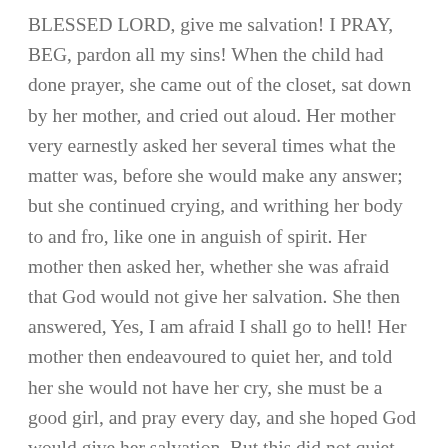BLESSED LORD, give me salvation! I PRAY, BEG, pardon all my sins! When the child had done prayer, she came out of the closet, sat down by her mother, and cried out aloud. Her mother very earnestly asked her several times what the matter was, before she would make any answer; but she continued crying, and writhing her body to and fro, like one in anguish of spirit. Her mother then asked her, whether she was afraid that God would not give her salvation. She then answered, Yes, I am afraid I shall go to hell! Her mother then endeavoured to quiet her, and told her she would not have her cry, she must be a good girl, and pray every day, and she hoped God would give her salvation. But this did not quiet her at all; she continued thus earnestly crying, and taking on for some time, till at length she suddenly ceased crying, and began to smile, and presently said with